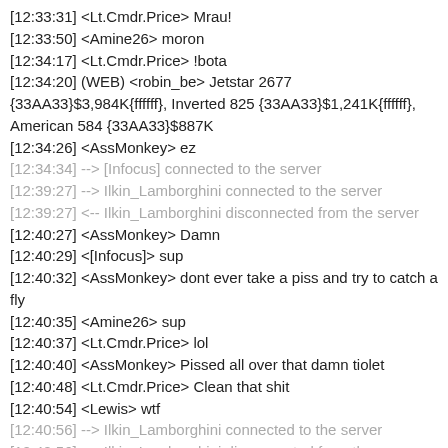[12:33:31] <Lt.Cmdr.Price> Mrau!
[12:33:50] <Amine26> moron
[12:34:17] <Lt.Cmdr.Price> !bota
[12:34:20] (WEB) <robin_be> Jetstar 2677 {33AA33}$3,984K{ffffff}, Inverted 825 {33AA33}$1,241K{ffffff}, American 584 {33AA33}$887K
[12:34:26] <AssMonkey> ez
[12:34:34] --> [Infocus] connected to the server
[12:39:27] --> Ilkin_Lamborghini connected to the server
[12:39:27] <-- Ilkin_Lamborghini disconnected from the server
[12:40:27] <AssMonkey> Damn
[12:40:29] <[Infocus]> sup
[12:40:32] <AssMonkey> dont ever take a piss and try to catch a fly
[12:40:35] <Amine26> sup
[12:40:37] <Lt.Cmdr.Price> lol
[12:40:40] <AssMonkey> Pissed all over that damn tiolet
[12:40:48] <Lt.Cmdr.Price> Clean that shit
[12:40:54] <Lewis> wtf
[12:40:56] --> Ilkin_Lamborghini connected to the server
[12:40:56] <-- Ilkin_Lamborghini disconnected from the server
[12:40:59] <Amine26> fuck you smal kid
[12:40:59] <AssMonkey> i did tho
[12:41:07] <[Infocus]> rip
[12:41:21] <[Infocus]> worst ap